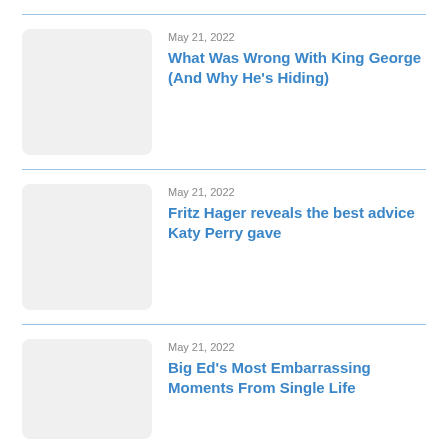[Figure (illustration): Placeholder thumbnail image, light gray rectangle with rounded corners]
May 21, 2022
What Was Wrong With King George (And Why He's Hiding)
[Figure (illustration): Placeholder thumbnail image, light gray rectangle with rounded corners]
May 21, 2022
Fritz Hager reveals the best advice Katy Perry gave
[Figure (illustration): Placeholder thumbnail image, light gray rectangle with rounded corners]
May 21, 2022
Big Ed's Most Embarrassing Moments From Single Life